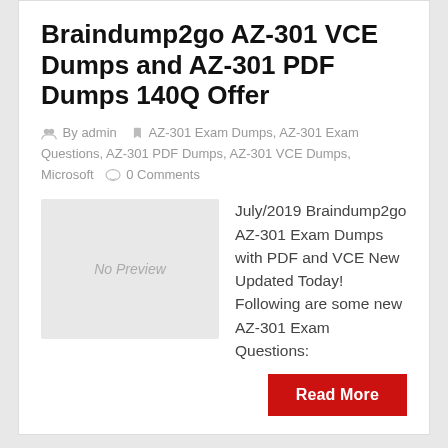Braindump2go AZ-301 VCE Dumps and AZ-301 PDF Dumps 140Q Offer
By admin  AZ-301 Exam Dumps, AZ-301 Exam Questions, AZ-301 PDF Dumps, AZ-301 VCE Dumps, Microsoft  0 Comments
[Figure (other): No Preview placeholder box]
July/2019 Braindump2go AZ-301 Exam Dumps with PDF and VCE New Updated Today! Following are some new AZ-301 Exam Questions:
Read More
April 17, 2019
[April-2019-New]Full Version AZ-301 Exam Dumps (VCE and PDF) 100Q for Free Download